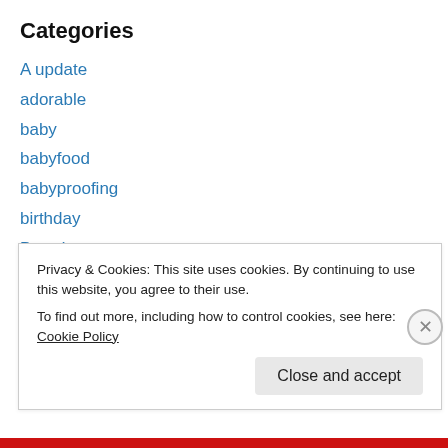Categories
A update
adorable
baby
babyfood
babyproofing
birthday
D update
decorating
DIY
embrace the camera thursday
family
Privacy & Cookies: This site uses cookies. By continuing to use this website, you agree to their use.
To find out more, including how to control cookies, see here: Cookie Policy
Close and accept